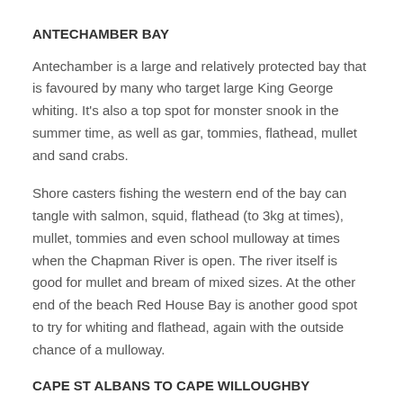ANTECHAMBER BAY
Antechamber is a large and relatively protected bay that is favoured by many who target large King George whiting. It's also a top spot for monster snook in the summer time, as well as gar, tommies, flathead, mullet and sand crabs.
Shore casters fishing the western end of the bay can tangle with salmon, squid, flathead (to 3kg at times), mullet, tommies and even school mulloway at times when the Chapman River is open. The river itself is good for mullet and bream of mixed sizes. At the other end of the beach Red House Bay is another good spot to try for whiting and flathead, again with the outside chance of a mulloway.
CAPE ST ALBANS TO CAPE WILLOUGHBY
This is big boat territory, as it's open to summer south-easterly winds and big Backstairs Passage tides. Salmon are found